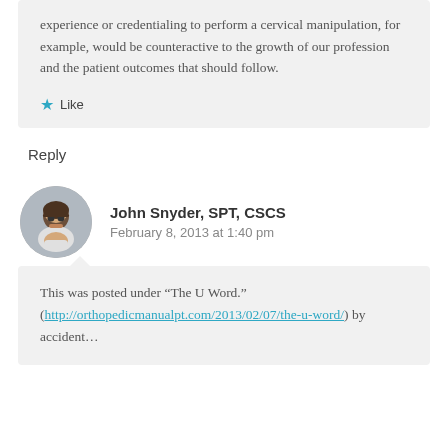experience or credentialing to perform a cervical manipulation, for example, would be counteractive to the growth of our profession and the patient outcomes that should follow.
Like
Reply
John Snyder, SPT, CSCS
February 8, 2013 at 1:40 pm
This was posted under “The U Word.” (http://orthopedicmanualpt.com/2013/02/07/the-u-word/) by accident…